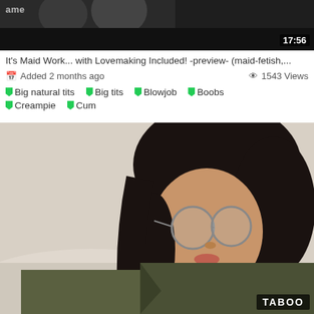[Figure (screenshot): Video thumbnail showing partial figures, dark background, with site name 'ame' and duration '17:56' overlay]
It's Maid Work... with Lovemaking Included! -preview- (maid-fetish,...
Added 2 months ago   1543 Views
Big natural tits  Big tits  Blowjob  Boobs
Creampie  Cum
[Figure (photo): Young woman with dark hair pulled back, wearing round glasses, white turtleneck and olive jacket, seated on a light sofa, looking to the side. TABOO watermark in lower right.]